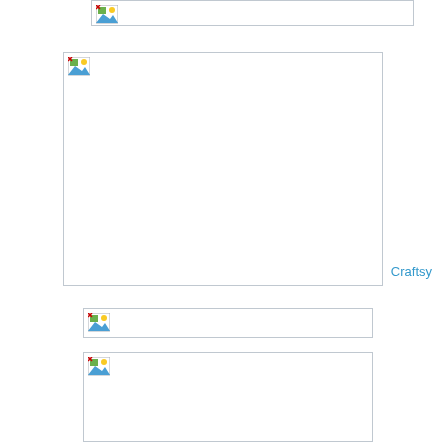[Figure (photo): Partially visible image placeholder at the top of the page with broken image icon]
[Figure (photo): Large image placeholder in the center with broken image icon and Craftsy watermark]
[Figure (photo): Narrow horizontal image placeholder with broken image icon]
[Figure (photo): Medium rectangular image placeholder at the bottom with broken image icon]